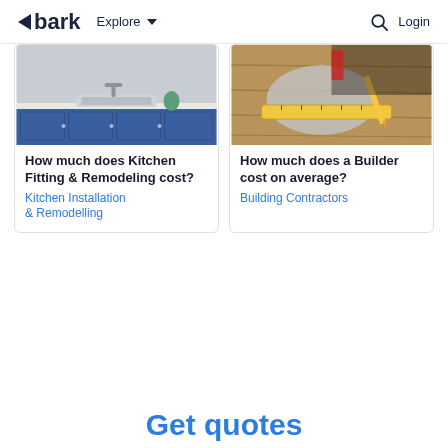bark  Explore  Login
[Figure (photo): Photo of a kitchen with blue cabinets and a sink]
How much does Kitchen Fitting & Remodeling cost?
Kitchen Installation & Remodelling
[Figure (photo): Photo of hands using a tape measure on wood]
How much does a Builder cost on average?
Building Contractors
Get quotes